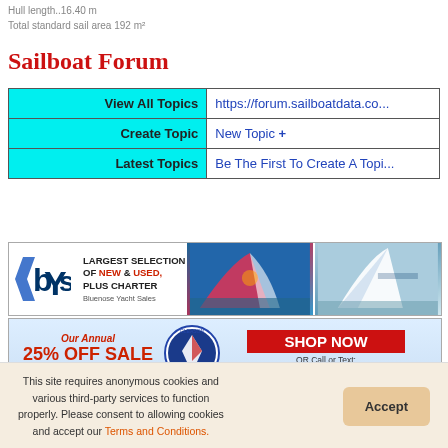Hull length..16.40 m
Total standard sail area 192 m²
Sailboat Forum
|  |  |
| --- | --- |
| View All Topics | https://forum.sailboatdata.co... |
| Create Topic | New Topic + |
| Latest Topics | Be The First To Create A Topi... |
[Figure (photo): Bluenose Yacht Sales advertisement: bYs logo, 'Largest Selection of New & Used, Plus Charter', with two sailing yacht photos]
[Figure (infographic): Gleason Sailmakers 25% Off Sale advertisement, Sept 1 - Nov 1, 2022, Shop Now, (843) 301-2097]
[Figure (infographic): Social media icons: Facebook, LinkedIn, Twitter]
This site requires anonymous cookies and various third-party services to function properly. Please consent to allowing cookies and accept our Terms and Conditions.